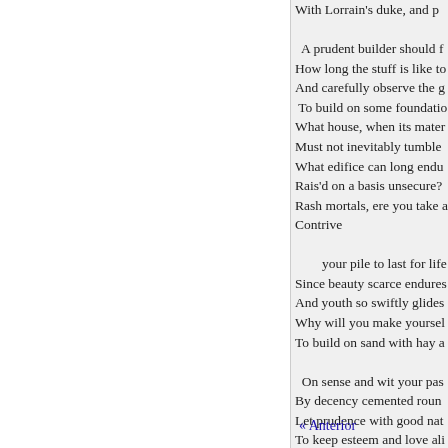With Lorrain's duke, and p...

A prudent builder should f
How long the stuff is like to
And carefully observe the g
 To build on some foundatio
What house, when its mater
Must not inevitably tumble
What edifice can long endu
Rais'd on a basis unsecure?
Rash mortals, ere you take a
Contrive

        your pile to last for life
Since beauty scarce endures
And youth so swiftly glides
Why will you make yoursel
To build on sand with hay a

  On sense and wit your pas
By decency cemented roun
Let prudence with good nat
To keep esteem and love ali
« Anterior